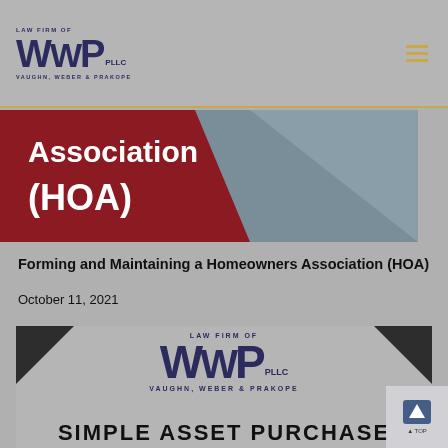LAW FIRM OF WWP PLLC VAUGHN, WEBER & PRAKOPE
[Figure (illustration): Red and blue-grey banner image showing partial text 'Association (HOA)' in white bold text on a dark red background with a diagonal split to blue-grey]
Forming and Maintaining a Homeowners Association (HOA)
October 11, 2021
[Figure (logo): WWP PLLC law firm card with triangular dark corners, centered logo and text 'SIMPLE ASSET PURCHASE' at the bottom]
SIMPLE ASSET PURCHASE